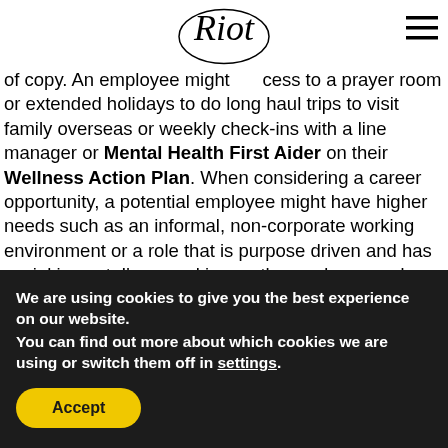Riot [logo]
of copy. An employee might have access to a prayer room or extended holidays to do long haul trips to visit family overseas or weekly check-ins with a line manager or Mental Health First Aider on their Wellness Action Plan. When considering a career opportunity, a potential employee might have higher needs such as an informal, non-corporate working environment or a role that is purpose driven and has social impact. I'm a working mother and my needs are based around flexible working so I can be present for my son, as well as the business. Working in an environment
We are using cookies to give you the best experience on our website.
You can find out more about which cookies we are using or switch them off in settings.
Accept